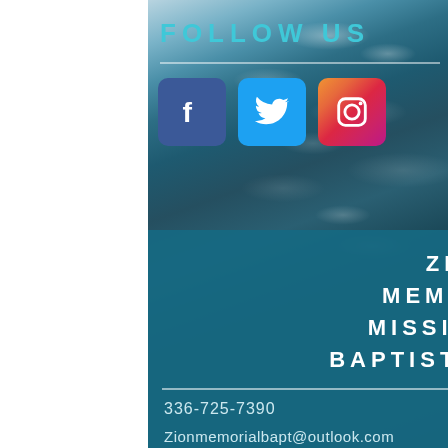[Figure (photo): Ocean water background with rippling waves and light reflections]
FOLLOW US
[Figure (infographic): Social media icons: Facebook (blue square), Twitter (light blue square), Instagram (pink/orange gradient square)]
ZION MEMORIAL MISSIONARY BAPTIST CHURCH
336-725-7390
Zionmemorialbapt@outlook.com